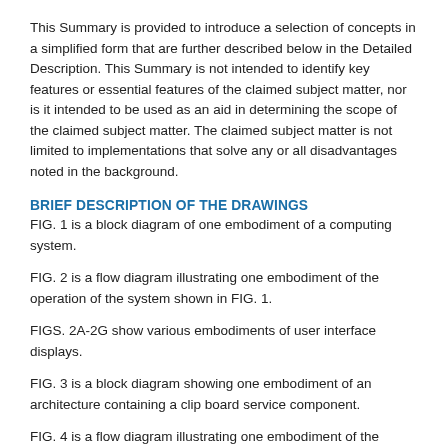This Summary is provided to introduce a selection of concepts in a simplified form that are further described below in the Detailed Description. This Summary is not intended to identify key features or essential features of the claimed subject matter, nor is it intended to be used as an aid in determining the scope of the claimed subject matter. The claimed subject matter is not limited to implementations that solve any or all disadvantages noted in the background.
BRIEF DESCRIPTION OF THE DRAWINGS
FIG. 1 is a block diagram of one embodiment of a computing system.
FIG. 2 is a flow diagram illustrating one embodiment of the operation of the system shown in FIG. 1.
FIGS. 2A-2G show various embodiments of user interface displays.
FIG. 3 is a block diagram showing one embodiment of an architecture containing a clip board service component.
FIG. 4 is a flow diagram illustrating one embodiment of the operation of the system shown in FIG. 3.
FIG. 5 shows one embodiment of the computing system of FIG. 1 in a variety of different architectures.
FIGS. 6-8 show embodiments of mobile devices.